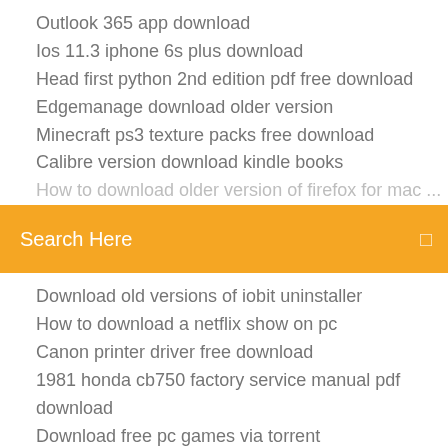Outlook 365 app download
Ios 11.3 iphone 6s plus download
Head first python 2nd edition pdf free download
Edgemanage download older version
Minecraft ps3 texture packs free download
Calibre version download kindle books
[Figure (screenshot): Orange search bar with text 'Search Here' and a small icon on the right]
Download old versions of iobit uninstaller
How to download a netflix show on pc
Canon printer driver free download
1981 honda cb750 factory service manual pdf download
Download free pc games via torrent
Battlefront 2 beta download pc
How to download video from ipad to pc
Fps games to download for pc free
Download liberty city stories gingerbread apk
Download android 7.0 for phone